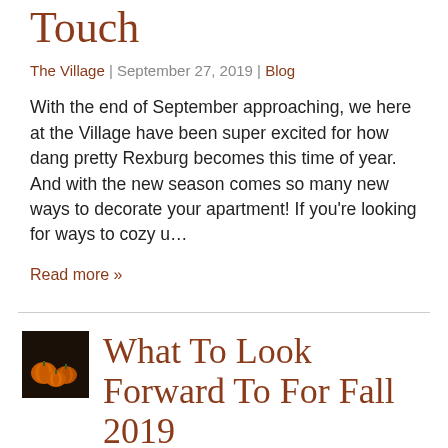Touch
The Village | September 27, 2019 | Blog
With the end of September approaching, we here at the Village have been super excited for how dang pretty Rexburg becomes this time of year. And with the new season comes so many new ways to decorate your apartment! If you're looking for ways to cozy u…
Read more »
[Figure (photo): Small thumbnail image of orange pumpkins on a dark background]
What To Look Forward To For Fall 2019